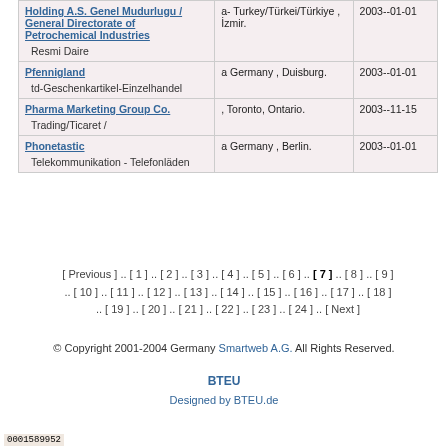| Name | Location | Date |
| --- | --- | --- |
| Holding A.S. Genel Mudurlugu / General Directorate of Petrochemical Industries
Resmi Daire | a- Turkey/Türkei/Türkiye , İzmir. | 2003--01-01 |
| Pfennigland
td-Geschenkartikel-Einzelhandel | a Germany , Duisburg. | 2003--01-01 |
| Pharma Marketing Group Co.
Trading/Ticaret / | , Toronto, Ontario. | 2003--11-15 |
| Phonetastic
Telekommunikation - Telefonläden | a Germany , Berlin. | 2003--01-01 |
[ Previous ] .. [ 1 ] .. [ 2 ] .. [ 3 ] .. [ 4 ] .. [ 5 ] .. [ 6 ] .. [ 7 ] .. [ 8 ] .. [ 9 ] .. [ 10 ] .. [ 11 ] .. [ 12 ] .. [ 13 ] .. [ 14 ] .. [ 15 ] .. [ 16 ] .. [ 17 ] .. [ 18 ] .. [ 19 ] .. [ 20 ] .. [ 21 ] .. [ 22 ] .. [ 23 ] .. [ 24 ] .. [ Next ]
© Copyright 2001-2004 Germany Smartweb A.G. All Rights Reserved.
BTEU
Designed by BTEU.de
0001589952